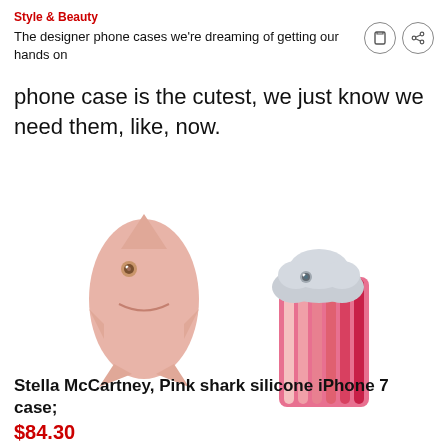Style & Beauty
The designer phone cases we're dreaming of getting our hands on
phone case is the cutest, we just know we need them, like, now.
[Figure (photo): Two designer phone cases: a pink shark silicone iPhone 7 case (Stella McCartney) on the left, and a grey cloud with pink rainbow stripes iPhone case on the right.]
Stella McCartney, Pink shark silicone iPhone 7 case; $84.30